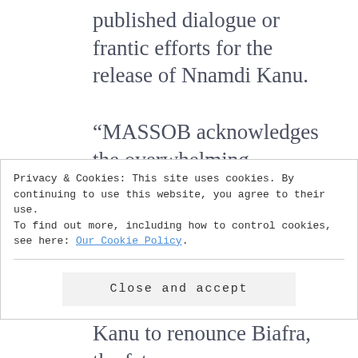published dialogue or frantic efforts for the release of Nnamdi Kanu.
“MASSSOB acknowledges the overwhelming impacts the arrest and detention of Nnamdi Kanu brought to the Biafra actualization struggle, the peoples confidence, trust and hope criminally abused,
Privacy & Cookies: This site uses cookies. By continuing to use this website, you agree to their use.
To find out more, including how to control cookies, see here: Our Cookie Policy
Close and accept
Kanu to renounce Biafra, the fate